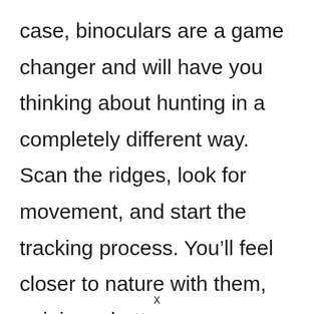case, binoculars are a game changer and will have you thinking about hunting in a completely different way. Scan the ridges, look for movement, and start the tracking process. You'll feel closer to nature with them, gaining a better understanding of how different animals interact in their environment
x